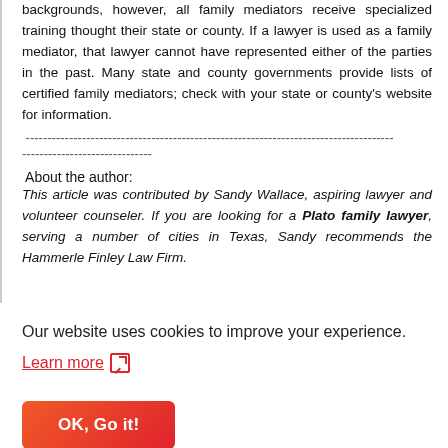backgrounds, however, all family mediators receive specialized training thought their state or county. If a lawyer is used as a family mediator, that lawyer cannot have represented either of the parties in the past. Many state and county governments provide lists of certified family mediators; check with your state or county's website for information.
------------------------------------------------------------------------------------
------------------------------
About the author:
This article was contributed by Sandy Wallace, aspiring lawyer and volunteer counseler. If you are looking for a Plato family lawyer, serving a number of cities in Texas, Sandy recommends the Hammerle Finley Law Firm.
Our website uses cookies to improve your experience.
Learn more
OK, Go it!